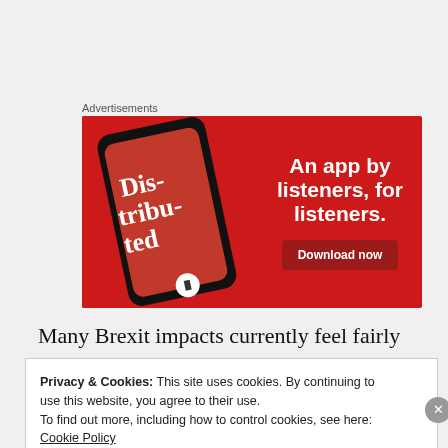Advertisements
[Figure (illustration): Advertisement banner for a podcast app. Red background with a smartphone showing 'Distributed' podcast app on screen. Text reads: 'An app by listeners, for listeners.' with a 'Download now' button.]
Many Brexit impacts currently feel fairly remote to the
Privacy & Cookies: This site uses cookies. By continuing to use this website, you agree to their use.
To find out more, including how to control cookies, see here: Cookie Policy
Close and accept